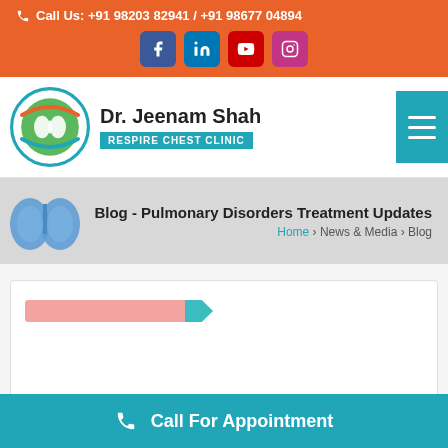Call Us: +91 98203 82941 / +91 98677 04894
Dr. Jeenam Shah — RESPIRE CHEST CLINIC
Blog - Pulmonary Disorders Treatment Updates
Home > News & Media > Blog
[Figure (screenshot): Blog card placeholder with pink and teal image bar]
Call For Appointment